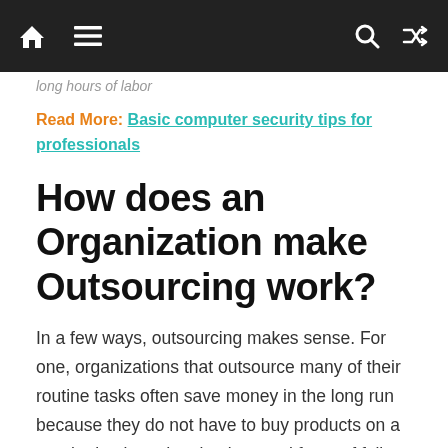[navbar with home, menu, search, shuffle icons]
long hours of labor
Read More:  Basic computer security tips for professionals
How does an Organization make Outsourcing work?
In a few ways, outsourcing makes sense. For one, organizations that outsource many of their routine tasks often save money in the long run because they do not have to buy products on a regular basis and maintain a workforce of full-time employees.